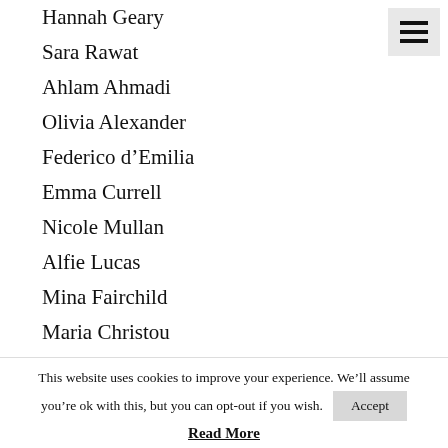Hannah Geary
Sara Rawat
Ahlam Ahmadi
Olivia Alexander
Federico d’Emilia
Emma Currell
Nicole Mullan
Alfie Lucas
Mina Fairchild
Maria Christou
Frida Skoglie
Gavin Rain
James Wright
This website uses cookies to improve your experience. We’ll assume you’re ok with this, but you can opt-out if you wish.
Accept
Read More